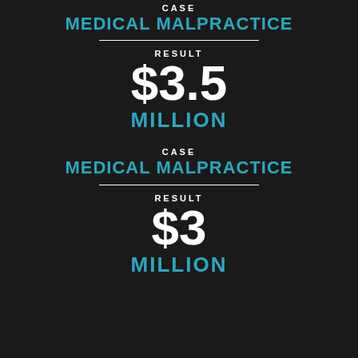CASE
MEDICAL MALPRACTICE
RESULT
$3.5
MILLION
CASE
MEDICAL MALPRACTICE
RESULT
$3
MILLION